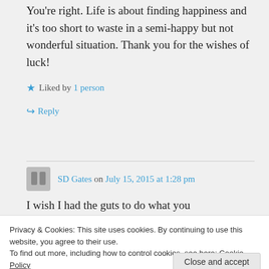You're right. Life is about finding happiness and it's too short to waste in a semi-happy but not wonderful situation. Thank you for the wishes of luck!
★ Liked by 1 person
↪ Reply
SD Gates on July 15, 2015 at 1:28 pm
I wish I had the guts to do what you
Privacy & Cookies: This site uses cookies. By continuing to use this website, you agree to their use.
To find out more, including how to control cookies, see here: Cookie Policy
Close and accept
Wouldn't it be great just to sell